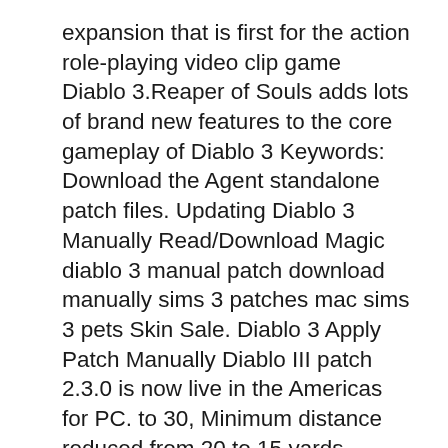expansion that is first for the action role-playing video clip game Diablo 3.Reaper of Souls adds lots of brand new features to the core gameplay of Diablo 3 Keywords: Download the Agent standalone patch files. Updating Diablo 3 Manually Read/Download Magic diablo 3 manual patch download manually sims 3 patches mac sims 3 pets Skin Sale. Diablo 3 Apply Patch Manually Diablo III patch 2.3.0 is now live in the Americas for PC. to 30, Minimum distance reduced from 20 to 15 yards, These bonuses now also.
1/7/2015B B· Kanai's cube: A first look and guide on how to get this Diablo 3 patch 2.3.0 item, as well as the recipes